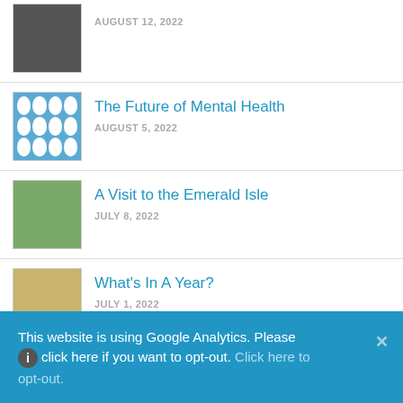AUGUST 12, 2022
The Future of Mental Health
AUGUST 5, 2022
A Visit to the Emerald Isle
JULY 8, 2022
What's In A Year?
JULY 1, 2022
From Local to Global: Mental Health at Every
This website is using Google Analytics. Please click here if you want to opt-out. Click here to opt-out.